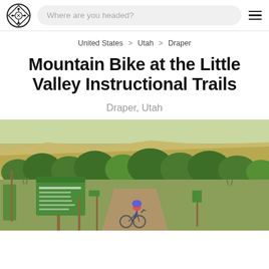Where are you headed?
United States > Utah > Draper
Mountain Bike at the Little Valley Instructional Trails
Draper, Utah
[Figure (photo): Outdoor photo of mountain bike trail entrance at Little Valley with trail signs and a cyclist, hills and trees in background, sunny day]